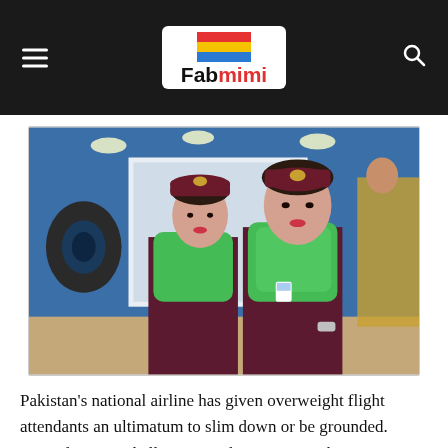Fabmimi
[Figure (photo): Two female flight attendants in dark maroon uniforms with green scarves and matching maroon caps with an emblem, standing in what appears to be an airline exhibition or conference hall with blue backdrop and spotlights.]
Pakistan’s national airline has given overweight flight attendants an ultimatum to slim down or be grounded. According to a challenge in Pakistani news, the…